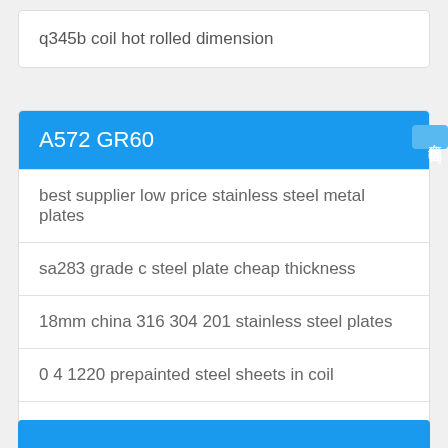q345b coil hot rolled dimension
A572 GR60
best supplier low price stainless steel metal plates
sa283 grade c steel plate cheap thickness
18mm china 316 304 201 stainless steel plates
0 4 1220 prepainted steel sheets in coil
carbon tube iso9001 hydraulic parts honed steel pipe
square tube square pipe from candy